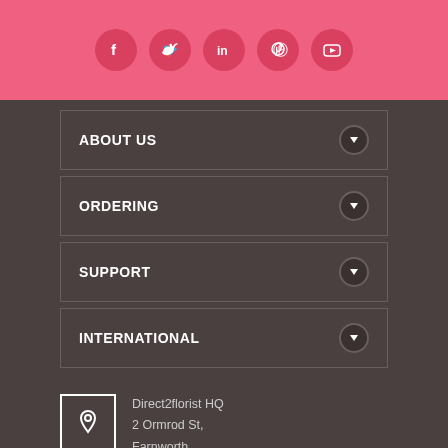[Figure (infographic): Pink header bar with five social media icons: Facebook, Twitter, LinkedIn, Pinterest, YouTube — white icons on dark pink circles]
ABOUT US
ORDERING
SUPPORT
INTERNATIONAL
Direct2florist HQ
2 Ormrod St,
Farnworth,
Bolton BL4 7DW, UK
Send us a message
Click here
Call Us
(Mon-Fri 9:30am-4pm
Sat 9:30am-2pm)